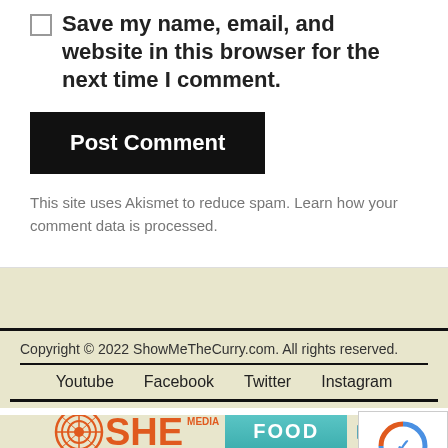Save my name, email, and website in this browser for the next time I comment.
Post Comment
This site uses Akismet to reduce spam. Learn how your comment data is processed.
Copyright © 2022 ShowMeTheCurry.com. All rights reserved.
Youtube   Facebook   Twitter   Instagram
[Figure (logo): SHE Media Collective logo with FOOD button and play arrow]
[Figure (other): reCAPTCHA badge with Privacy - Terms text]